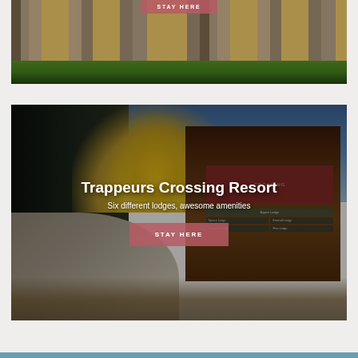[Figure (photo): Exterior photo of a stone and wood lodge/chalet building with garage doors, green lawn in foreground, with a 'STAY HERE' button overlay at top center]
[Figure (photo): Exterior photo of Trappeurs Crossing Resort showing a wooden entrance sign reading 'CROSSING' with directional signs for Aspen Lodge, Emerald Lodge, Elk Lodge, Bear Lodge, and others. Trees with yellow autumn foliage and blue sky in background, curved driveway in foreground. Overlay text: 'Trappeurs Crossing Resort' and 'Six different lodges, awesome amenities' with a 'STAY HERE' button.]